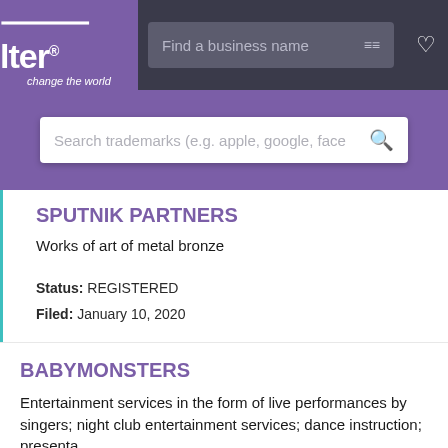[Figure (screenshot): Alter trademark search website header with purple logo box showing 'Alter change the world', a dark search bar reading 'Find a business name', and a heart icon]
[Figure (screenshot): Purple hero banner with a white search box reading 'Search trademarks (e.g. apple, google, face' with a search icon]
SPUTNIK PARTNERS
Works of art of metal bronze
Status: REGISTERED
Filed: January 10, 2020
BABYMONSTERS
Entertainment services in the form of live performances by singers; night club entertainment services; dance instruction; presenta...